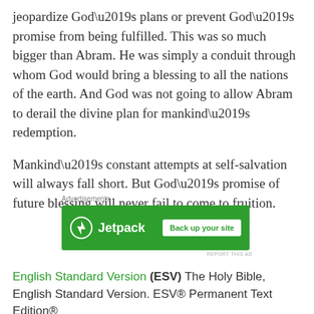jeopardize God’s plans or prevent God’s promise from being fulfilled. This was so much bigger than Abram. He was simply a conduit through whom God would bring a blessing to all the nations of the earth. And God was not going to allow Abram to derail the divine plan for mankind’s redemption.
Mankind’s constant attempts at self-salvation will always fall short. But God’s promise of future blessing will never fail to come to fruition.
Advertisements
[Figure (other): Jetpack advertisement banner with green background, Jetpack logo and text on left, and 'Back up your site' button on right]
REPORT THIS AD
English Standard Version (ESV) The Holy Bible, English Standard Version. ESV® Permanent Text Edition®